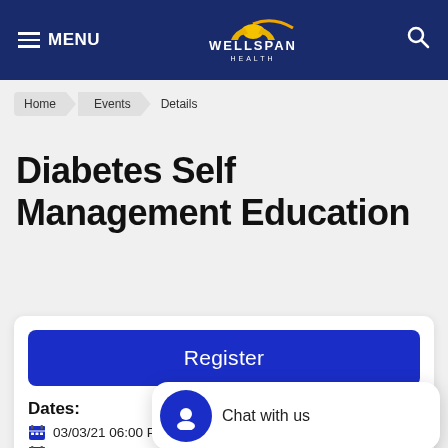[Figure (logo): WellSpan Health logo with sun graphic, white text on navy background, with hamburger menu and search icon]
Home > Events > Details
Diabetes Self Management Education
Register
Dates:
03/03/21 06:00 PM - 08:00 PM
03/10/21 06:00 PM - 08:00 PM
Chat with us